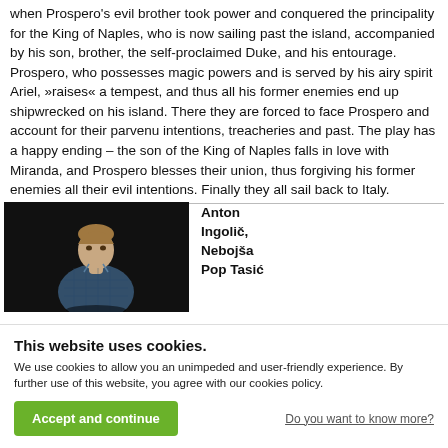when Prospero's evil brother took power and conquered the principality for the King of Naples, who is now sailing past the island, accompanied by his son, brother, the self-proclaimed Duke, and his entourage. Prospero, who possesses magic powers and is served by his airy spirit Ariel, »raises« a tempest, and thus all his former enemies end up shipwrecked on his island. There they are forced to face Prospero and account for their parvenu intentions, treacheries and past. The play has a happy ending – the son of the King of Naples falls in love with Miranda, and Prospero blesses their union, thus forgiving his former enemies all their evil intentions. Finally they all sail back to Italy.
[Figure (photo): Dark stage photo of a young man with slicked back hair, wearing a plaid blue shirt, looking intensely at the camera against a black background.]
Anton Ingolič, Nebojša Pop Tasić
This website uses cookies. We use cookies to allow you an unimpeded and user-friendly experience. By further use of this website, you agree with our cookies policy.